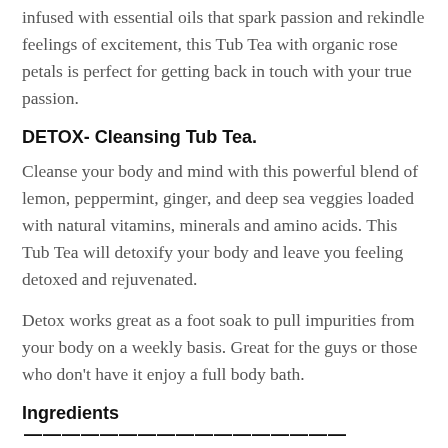infused with essential oils that spark passion and rekindle feelings of excitement, this Tub Tea with organic rose petals is perfect for getting back in touch with your true passion.
DETOX- Cleansing Tub Tea.
Cleanse your body and mind with this powerful blend of lemon, peppermint, ginger, and deep sea veggies loaded with natural vitamins, minerals and amino acids. This Tub Tea will detoxify your body and leave you feeling detoxed and rejuvenated.
Detox works great as a foot soak to pull impurities from your body on a weekly basis. Great for the guys or those who don't have it enjoy a full body bath.
Ingredients—————————————